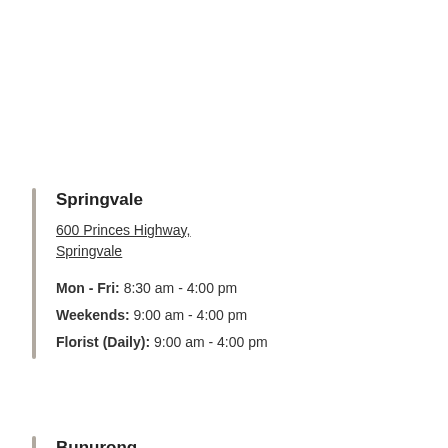Springvale
600 Princes Highway, Springvale
Mon - Fri: 8:30 am - 4:00 pm
Weekends: 9:00 am - 4:00 pm
Florist (Daily): 9:00 am - 4:00 pm
Bunurong
790 Frankston-Dandenong Rd, Dandenong South